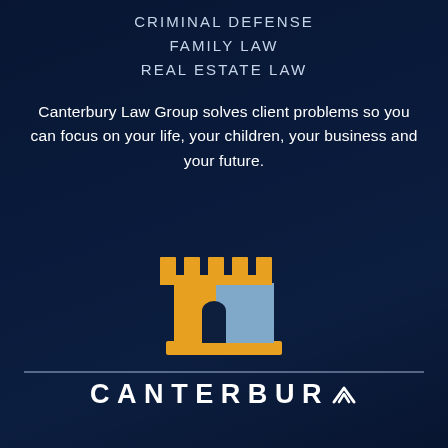CRIMINAL DEFENSE
FAMILY LAW
REAL ESTATE LAW
Canterbury Law Group solves client problems so you can focus on your life, your children, your business and your future.
[Figure (logo): Canterbury Law Group rook/castle chess piece logo in gold and blue colors]
CANTERBURY